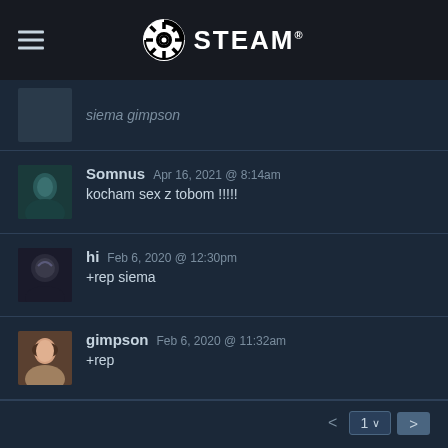STEAM
siema gimpson
Somnus  Apr 16, 2021 @ 8:14am
kocham sex z tobom !!!!!
hi  Feb 6, 2020 @ 12:30pm
+rep siema
gimpson  Feb 6, 2020 @ 11:32am
+rep
< 1 >